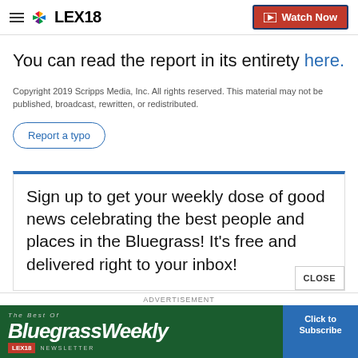LEX18 | Watch Now
You can read the report in its entirety here.
Copyright 2019 Scripps Media, Inc. All rights reserved. This material may not be published, broadcast, rewritten, or redistributed.
Report a typo
Sign up to get your weekly dose of good news celebrating the best people and places in the Bluegrass! It's free and delivered right to your inbox!
[Figure (infographic): Bluegrass Weekly Newsletter advertisement banner with green background and blue subscribe button]